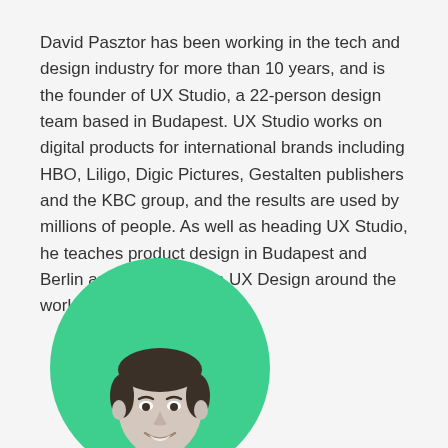David Pasztor has been working in the tech and design industry for more than 10 years, and is the founder of UX Studio, a 22-person design team based in Budapest. UX Studio works on digital products for international brands including HBO, Liligo, Digic Pictures, Gestalten publishers and the KBC group, and the results are used by millions of people. As well as heading UX Studio, he teaches product design in Budapest and Berlin and gives talks on UX Design around the world.
[Figure (photo): Circular portrait photo of David Pasztor on a green background. The image shows a young man smiling, with dark hair, wearing a grey shirt. The photo is cropped in a circle with a bright green (#3ecf8e) background.]